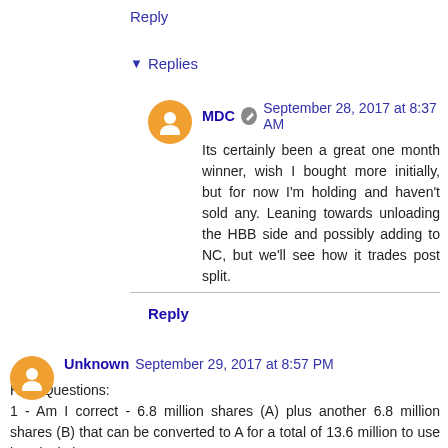Reply
▾ Replies
MDC  September 28, 2017 at 8:37 AM
Its certainly been a great one month winner, wish I bought more initially, but for now I'm holding and haven't sold any. Leaning towards unloading the HBB side and possibly adding to NC, but we'll see how it trades post split.
Reply
Unknown  September 29, 2017 at 8:57 PM
HBB Questions:
1 - Am I correct - 6.8 million shares (A) plus another 6.8 million shares (B) that can be converted to A for a total of 13.6 million to use in calculations?
2 - Are you still thinking 9-10x EBIT or have you reconsidered at all? How do you estimate/what do you